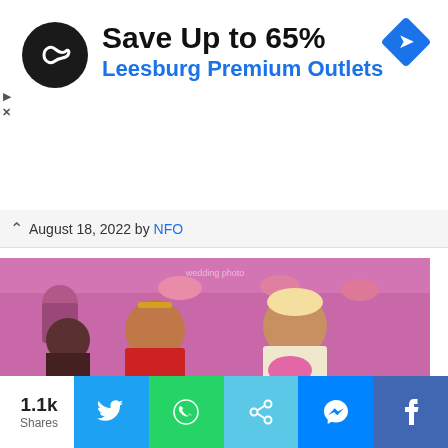[Figure (infographic): Advertisement banner: black circular logo with infinity-like symbol, headline 'Save Up to 65%', subline 'Leesburg Premium Outlets', blue diamond arrow icon on right, play and close controls on left edge]
August 18, 2022 by NFO
[Figure (photo): Indian wedding photo showing a bride in traditional red bridal attire with gold jewelry and a groom in cream sherwani with pink floral garland, surrounded by guests with pink turbans and pink decorations in background]
1.1k Shares
[Figure (infographic): Social share buttons bar: Twitter (blue), WhatsApp (green), Share (light blue), Messenger (blue), Facebook (dark blue)]